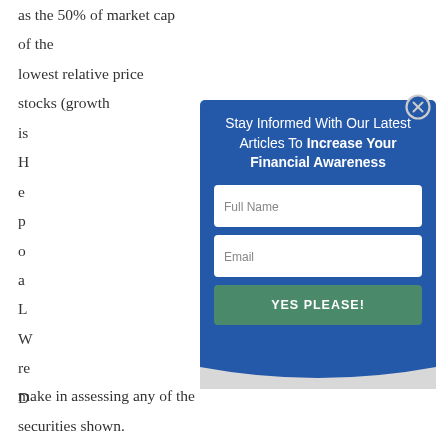as the 50% of market cap of the lowest relative price stocks (growth is... H... e... p... o... a... L... W... re... D...
[Figure (screenshot): Modal popup overlay with blue background reading 'Stay Informed With Our Latest Articles To Increase Your Financial Awareness', with Full Name and Email input fields and a green 'YES PLEASE!' button. A close button (X in circle) appears at the top right of the modal.]
make in assessing any of the securities shown.